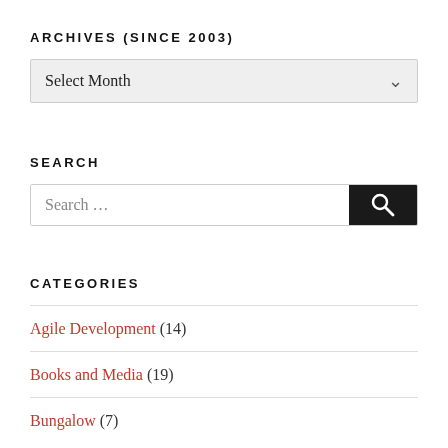ARCHIVES (SINCE 2003)
Select Month
SEARCH
Search …
CATEGORIES
Agile Development (14)
Books and Media (19)
Bungalow (7)